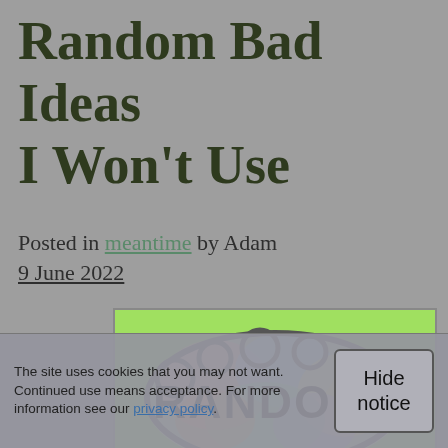Random Bad Ideas I Won't Use
Posted in meantime by Adam
9 June 2022
[Figure (illustration): Colorful sticker-style illustration with the word RANDOM written in bold black letters on a multicolored pastel patchwork shape against a light green background.]
The site uses cookies that you may not want. Continued use means acceptance. For more information see our privacy policy.